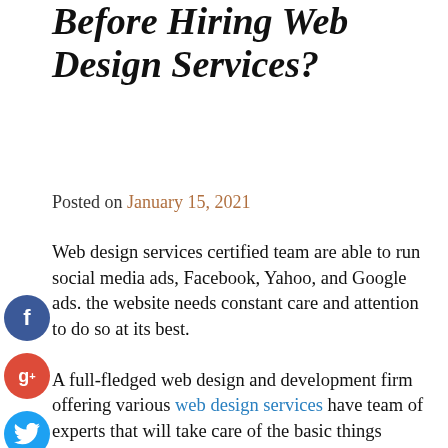What You Should Know Before Hiring Web Design Services?
Posted on January 15, 2021
Web design services certified team are able to run social media ads, Facebook, Yahoo, and Google ads. the website needs constant care and attention to do so at its best.
A full-fledged web design and development firm offering various web design services have team of experts that will take care of the basic things required by the clients. They also help the clients to develop the website